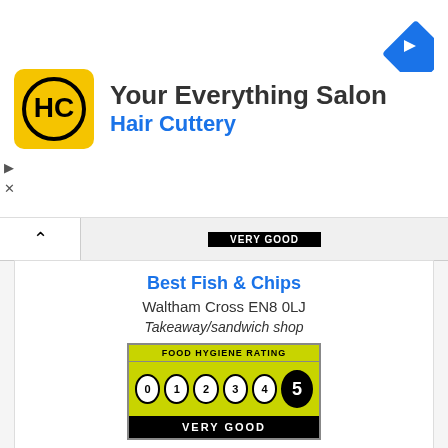[Figure (logo): Hair Cuttery ad banner with HC logo on yellow background, navigation icon, and ad controls]
[Figure (other): Collapsed panel showing partial VERY GOOD food hygiene rating badge]
Best Fish & Chips
Waltham Cross EN8 0LJ
Takeaway/sandwich shop
[Figure (infographic): Food Hygiene Rating badge showing rating 5 - VERY GOOD]
Best Food Logistics
Roydon EN11 0RF
Distributors/Transporters
[Figure (infographic): Food Hygiene Rating badge showing EXEMPT status]
Best One